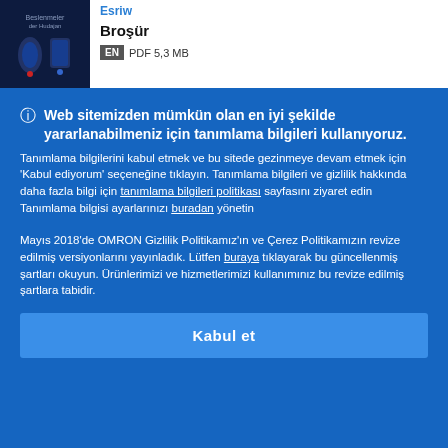[Figure (illustration): Book cover thumbnail with dark blue background showing industrial/automation imagery]
Broşür
EN PDF 5,3 MB
Web sitemizden mümkün olan en iyi şekilde yararlanabilmeniz için tanımlama bilgileri kullanıyoruz.
Tanımlama bilgilerini kabul etmek ve bu sitede gezinmeye devam etmek için 'Kabul ediyorum' seçeneğine tıklayın. Tanımlama bilgileri ve gizlilik hakkında daha fazla bilgi için tanımlama bilgileri politikası sayfasını ziyaret edin
Tanımlama bilgisi ayarlarınızı buradan yönetin
Mayıs 2018'de OMRON Gizlilik Politikamız'ın ve Çerez Politikamızın revize edilmiş versiyonlarını yayınladık. Lütfen buraya tıklayarak bu güncellenmiş şartları okuyun. Ürünlerimizi ve hizmetlerimizi kullanımınız bu revize edilmiş şartlara tabidir.
Kabul et